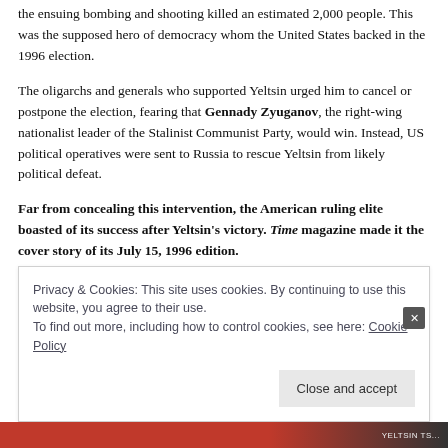the ensuing bombing and shooting killed an estimated 2,000 people. This was the supposed hero of democracy whom the United States backed in the 1996 election.
The oligarchs and generals who supported Yeltsin urged him to cancel or postpone the election, fearing that Gennady Zyuganov, the right-wing nationalist leader of the Stalinist Communist Party, would win. Instead, US political operatives were sent to Russia to rescue Yeltsin from likely political defeat.
Far from concealing this intervention, the American ruling elite boasted of its success after Yeltsin's victory. Time magazine made it the cover story of its July 15, 1996 edition.
Privacy & Cookies: This site uses cookies. By continuing to use this website, you agree to their use.
To find out more, including how to control cookies, see here: Cookie Policy